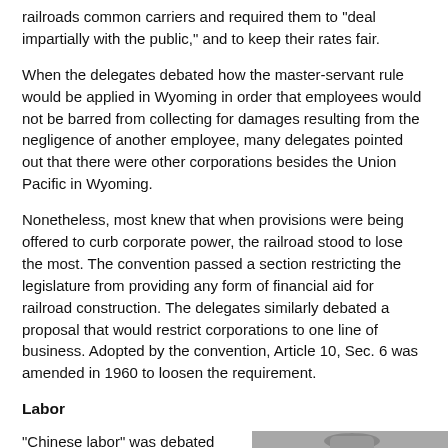railroads common carriers and required them to "deal impartially with the public," and to keep their rates fair.
When the delegates debated how the master-servant rule would be applied in Wyoming in order that employees would not be barred from collecting for damages resulting from the negligence of another employee, many delegates pointed out that there were other corporations besides the Union Pacific in Wyoming.
Nonetheless, most knew that when provisions were being offered to curb corporate power, the railroad stood to lose the most. The convention passed a section restricting the legislature from providing any form of financial aid for railroad construction. The delegates similarly debated a proposal that would restrict corporations to one line of business. Adopted by the convention, Article 10, Sec. 6 was amended in 1960 to loosen the requirement.
Labor
"Chinese labor" was debated extensively — whether or not the constitution ought
[Figure (photo): Black and white photograph of a person, partially visible on the right side of the page.]